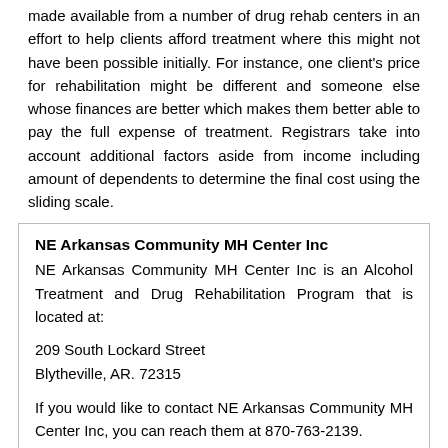made available from a number of drug rehab centers in an effort to help clients afford treatment where this might not have been possible initially. For instance, one client's price for rehabilitation might be different and someone else whose finances are better which makes them better able to pay the full expense of treatment. Registrars take into account additional factors aside from income including amount of dependents to determine the final cost using the sliding scale.
NE Arkansas Community MH Center Inc
NE Arkansas Community MH Center Inc is an Alcohol Treatment and Drug Rehabilitation Program that is located at:
209 South Lockard Street
Blytheville, AR. 72315
If you would like to contact NE Arkansas Community MH Center Inc, you can reach them at 870-763-2139.
NE Arkansas Community MH Center Inc offers the following treatment services: Outpatient, Spanish Payment forms accepted: Self Payment, Medicaid, Medicare, State Financed Insurance (Other Than Medicaid), Private Health Insurance, Military Insurance (E.G., Va, Tricare), Sliding Fee Scale (Fee Is Based On Income And Other Factors)